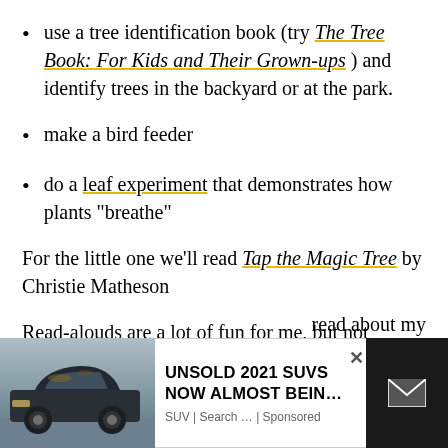use a tree identification book (try The Tree Book: For Kids and Their Grown-ups) and identify trees in the backyard or at the park.
make a bird feeder
do a leaf experiment that demonstrates how plants “breathe”
For the little one we’ll read Tap the Magic Tree by Christie Matheson
Read-alouds are a lot of fun for me, but not
[Figure (screenshot): Advertisement banner showing a Land Rover SUV image on the left with text 'UNSOLD 2021 SUVS NOW ALMOST BEIN...' SUV | Search ... | Sponsored, with a close X button and a dark panel with envelope icon on the right. Partial article text visible: 'read about my']